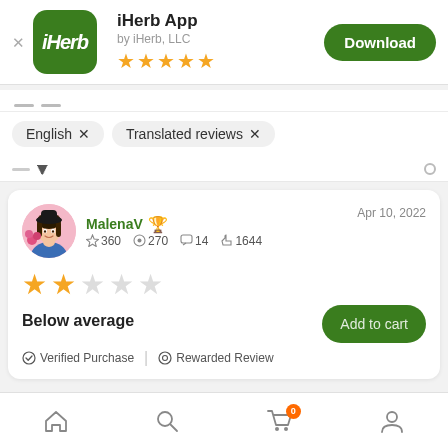[Figure (screenshot): iHerb App store listing header with app icon (green rounded square with iHerb text), app name, developer, star rating, and Download button]
iHerb App
by iHerb, LLC
★★★★★
English × Translated reviews ×
MalenaV 🏆  Apr 10, 2022
☆ 360  📷 270  💬 14  👍 1644
Below average
✔ Verified Purchase  |  ⓒ Rewarded Review